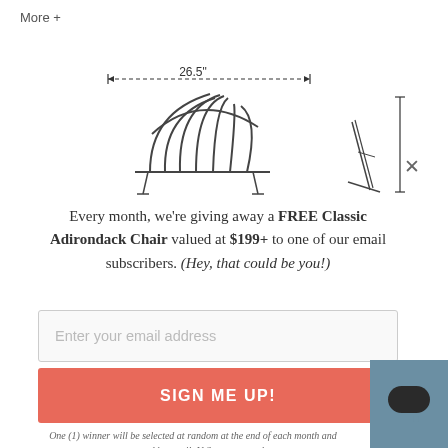More +
[Figure (engineering-diagram): Technical line drawing of an Adirondack chair shown from front view with a dimension arrow indicating 26.5" width, plus two side-view diagrams on the right showing the chair profile and height.]
Every month, we're giving away a FREE Classic Adirondack Chair valued at $199+ to one of our email subscribers. (Hey, that could be you!)
Enter your email address
SIGN ME UP!
One (1) winner will be selected at random at the end of each month and contacted by email. U.S. entrants only.